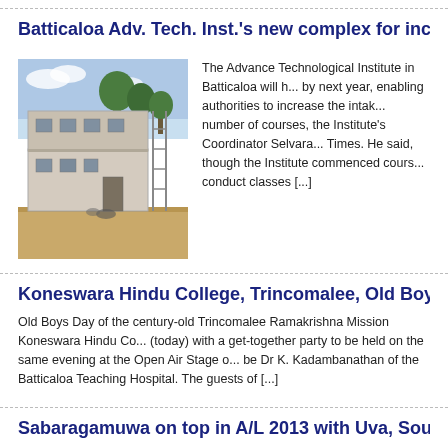Batticaloa Adv. Tech. Inst.'s new complex for increased...
[Figure (photo): Construction photo of a two-storey building with scaffolding and trees in background at Batticaloa Advanced Technological Institute]
The Advance Technological Institute in Batticaloa will h... by next year, enabling authorities to increase the intak... number of courses, the Institute's Coordinator Selvara... Times. He said, though the Institute commenced cours... conduct classes [...]
Koneswara Hindu College, Trincomalee, Old Boys Day...
Old Boys Day of the century-old Trincomalee Ramakrishna Mission Koneswara Hindu Co... (today) with a get-together party to be held on the same evening at the Open Air Stage o... be Dr K. Kadambanathan of the Batticaloa Teaching Hospital. The guests of [...]
Sabaragamuwa on top in A/L 2013 with Uva, South in t...